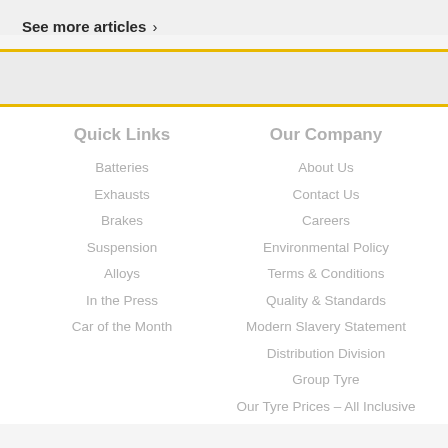See more articles >
Quick Links
Batteries
Exhausts
Brakes
Suspension
Alloys
In the Press
Car of the Month
Our Company
About Us
Contact Us
Careers
Environmental Policy
Terms & Conditions
Quality & Standards
Modern Slavery Statement
Distribution Division
Group Tyre
Our Tyre Prices – All Inclusive